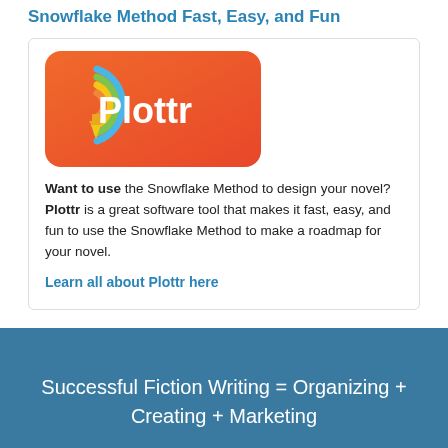Snowflake Method Fast, Easy, and Fun
[Figure (logo): Plottr app logo — orange rounded rectangle background with a rainbow 'P' icon and a gold pen nib icon, white text reading 'Plottr']
Want to use the Snowflake Method to design your novel? Plottr is a great software tool that makes it fast, easy, and fun to use the Snowflake Method to make a roadmap for your novel.
Learn all about Plottr here
Successful Fiction Writing = Organizing + Creating + Marketing